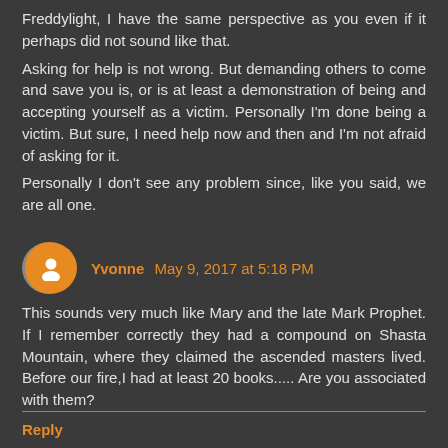Freddylight, I have the same perspective as you even if it perhaps did not sound like that.
Asking for help is not wrong. But demanding others to come and save you is, or is at least a demonstration of being and accepting yourself as a victim. Personally I'm done being a victim. But sure, I need help now and then and I'm not afraid of asking for it.
Personally I don't see any problem since, like you said, we are all one.
Yvonne  May 9, 2017 at 5:18 PM
This sounds very much like Mary and the late Mark Prophet. If I remember correctly they had a compound on Shasta Mountain, where they claimed the ascended masters lived. Before our fire,I had at least 20 books..... Are you associated with them?
Reply